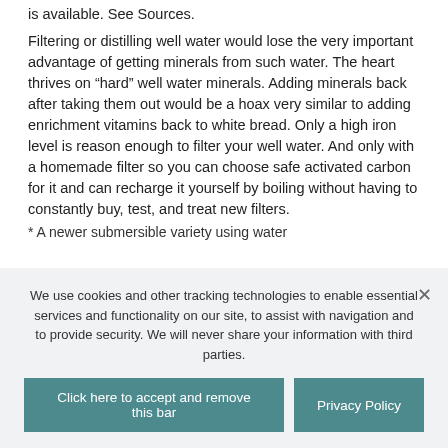is available. See Sources.
Filtering or distilling well water would lose the very important advantage of getting minerals from such water. The heart thrives on “hard” well water minerals. Adding minerals back after taking them out would be a hoax very similar to adding enrichment vitamins back to white bread. Only a high iron level is reason enough to filter your well water. And only with a homemade filter so you can choose safe activated carbon for it and can recharge it yourself by boiling without having to constantly buy, test, and treat new filters.
* A newer submersible variety using water
We use cookies and other tracking technologies to enable essential services and functionality on our site, to assist with navigation and to provide security. We will never share your information with third parties.
Click here to accept and remove this bar
Privacy Policy